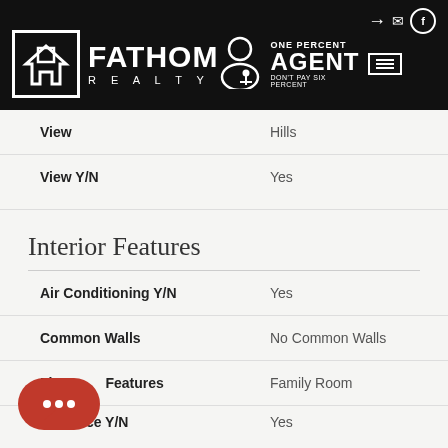[Figure (logo): Fathom Realty logo with One Percent Agent branding on black header bar]
| Property | Value |
| --- | --- |
| View | Hills |
| View Y/N | Yes |
| Air Conditioning Y/N | Yes |
| Common Walls | No Common Walls |
| Fireplace Features | Family Room |
| Fireplace Y/N | Yes |
Interior Features